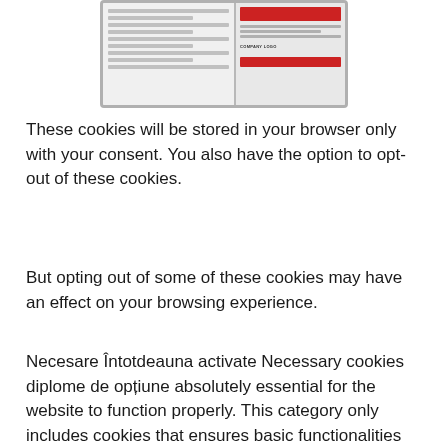[Figure (screenshot): Screenshot of a web page interface showing a form or cookie consent dialog with red buttons and gray UI elements]
These cookies will be stored in your browser only with your consent. You also have the option to opt-out of these cookies.
But opting out of some of these cookies may have an effect on your browsing experience.
Necesare Întotdeauna activate Necessary cookies diplome de opțiune absolutely essential for the website to function properly. This category only includes cookies that ensures basic functionalities and security features of the website.